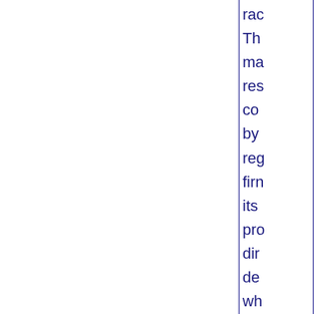rac
Th
ma
res
co
by
reg
firm
its
pro
dir
de
wh
po
sin
An
an
Ari
wil